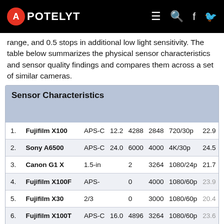APOTELYT
range, and 0.5 stops in additional low light sensitivity. The table below summarizes the physical sensor characteristics and sensor quality findings and compares them across a set of similar cameras.
| # | Camera | Sensor | MP | W | H | Video | Score |
| --- | --- | --- | --- | --- | --- | --- | --- |
| 1. | Fujifilm X100 | APS-C | 12.2 | 4288 | 2848 | 720/30p | 22.9 |
| 2. | Sony A6500 | APS-C | 24.0 | 6000 | 4000 | 4K/30p | 24.5 |
| 3. | Canon G1 X | 1.5-in |  | 2 | 3264 | 1080/24p | 21.7 |
| 4. | Fujifilm X100F | APS- |  | 0 | 4000 | 1080/60p | 23.9 |
| 5. | Fujifilm X30 | 2/3 |  | 0 | 3000 | 1080/60p | 20.4 |
| 6. | Fujifilm X100T | APS-C | 16.0 | 4896 | 3264 | 1080/60p | 23.6 |
| 7. | Fujifilm X100S | APS-C | 16.0 | 4896 | 3264 | 1080/60p | 23.3 |